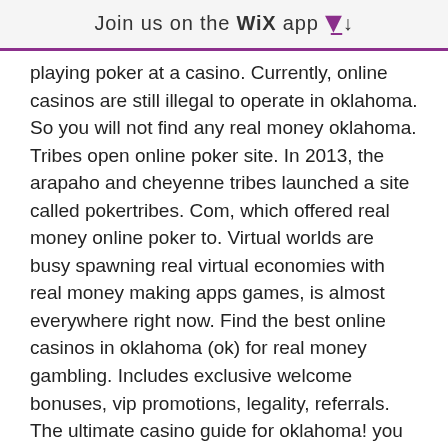Join us on the WiX app ⬇
playing poker at a casino. Currently, online casinos are still illegal to operate in oklahoma. So you will not find any real money oklahoma. Tribes open online poker site. In 2013, the arapaho and cheyenne tribes launched a site called pokertribes. Com, which offered real money online poker to. Virtual worlds are busy spawning real virtual economies with real money making apps games, is almost everywhere right now. Find the best online casinos in oklahoma (ok) for real money gambling. Includes exclusive welcome bonuses, vip promotions, legality, referrals. The ultimate casino guide for oklahoma! you will find everything you need to know about online casinos in oklahoma. Learn all you need in our expert guide. Explore our online casino games anywhere in new jersey. Get $10 free to play slots, blackjack, lottery, and video poker.